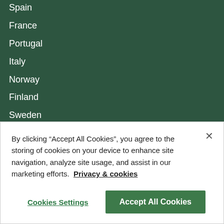Spain
France
Portugal
Italy
Norway
Finland
Sweden
All countries
FOR OWNERS
Log In
Join the collection
By clicking “Accept All Cookies”, you agree to the storing of cookies on your device to enhance site navigation, analyze site usage, and assist in our marketing efforts. Privacy & cookies
Cookies Settings
Accept All Cookies